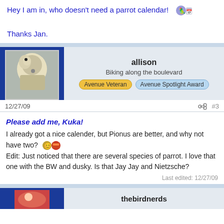Hey I am in, who doesn't need a parrot calendar! [emoji]
Thanks Jan.
allison
Biking along the boulevard
Avenue Veteran | Avenue Spotlight Award
12/27/09  #3
Please add me, Kuka! I already got a nice calender, but Pionus are better, and why not have two? [emoji] Edit: Just noticed that there are several species of parrot. I love that one with the BW and dusky. Is that Jay Jay and Nietzsche?
Last edited: 12/27/09
thebirdnerds